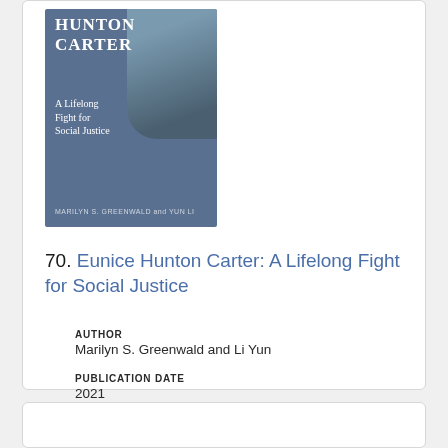[Figure (photo): Book cover of 'Eunice Hunton Carter: A Lifelong Fight for Social Justice' by Marilyn S. Greenwald and Yun Li, showing a portrait of a Black woman with the title text overlaid on a dark blue-grey background.]
70. Eunice Hunton Carter: A Lifelong Fight for Social Justice
AUTHOR
Marilyn S. Greenwald and Li Yun
PUBLICATION DATE
2021
[Figure (photo): Partial view of a book cover at the bottom of the page, mostly cut off.]